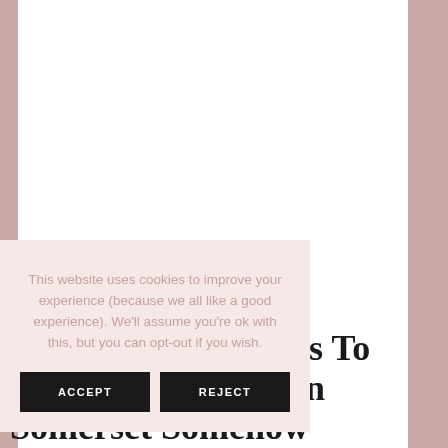[Figure (photo): White content area over a dusty rose/mauve background, with a cookie consent overlay dialog in the lower-left portion of the page]
This website uses cookies to improve your experience (because we all like a good experience). We'll assume you're ok with this, but you can opt-out if you wish.
ACCEPT
REJECT
For The Best Things To Do On A Day Out In Somerset Somehow